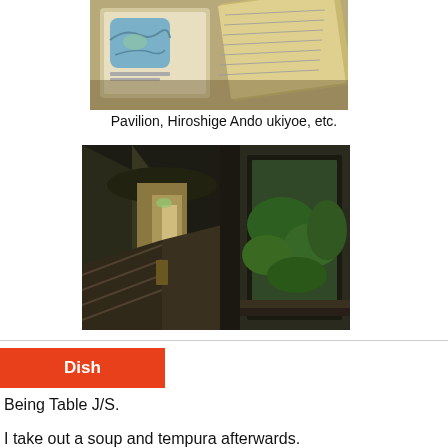[Figure (photo): Photograph of open books showing illustrations and text, including what appears to be Hiroshige Ando ukiyoe artwork]
Pavilion, Hiroshige Ando ukiyoe, etc.
[Figure (photo): Photograph of a corridor/hallway with dim lighting and a view through a window showing greenery]
Dish
Being Table J/S.
I take out a soup and tempura afterwards.